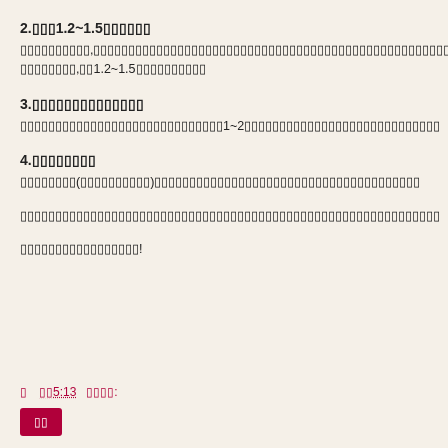2.▯▯▯1.2~1.5▯▯▯▯▯▯
▯▯▯▯▯▯▯▯▯▯,▯▯▯▯▯▯▯▯▯▯▯▯▯▯▯▯▯▯▯▯▯▯▯▯▯▯▯▯▯▯▯▯▯▯▯▯▯▯▯▯▯▯▯▯▯▯▯▯▯▯▯▯▯▯▯▯▯▯,▯▯1.2~1.5▯▯▯▯▯▯▯▯▯▯
3.▯▯▯▯▯▯▯▯▯▯▯▯▯▯
▯▯▯▯▯▯▯▯▯▯▯▯▯▯▯▯▯▯▯▯▯▯▯▯▯▯▯▯▯1~2▯▯▯▯▯▯▯▯▯▯▯▯▯▯▯▯▯▯▯▯▯▯▯▯▯▯▯▯
4.▯▯▯▯▯▯▯▯
▯▯▯▯▯▯▯▯(▯▯▯▯▯▯▯▯▯▯)▯▯▯▯▯▯▯▯▯▯▯▯▯▯▯▯▯▯▯▯▯▯▯▯▯▯▯▯▯▯▯▯▯▯▯▯▯▯▯▯▯▯
▯▯▯▯▯▯▯▯▯▯▯▯▯▯▯▯▯▯▯▯▯▯▯▯▯▯▯▯▯▯▯▯▯▯▯▯▯▯▯▯▯▯▯▯▯▯▯▯▯▯▯▯▯▯▯▯▯▯▯▯
▯▯▯▯▯▯▯▯▯▯▯▯▯▯▯▯▯!
▯ ▯▯5:13  ▯▯▯▯: 回复